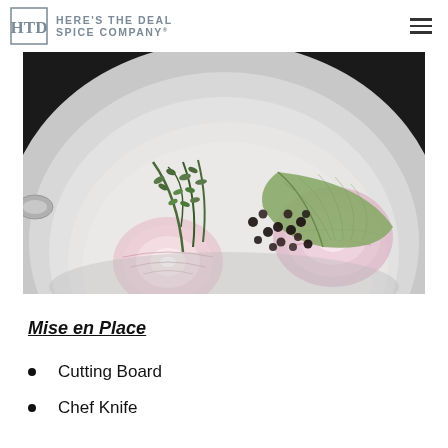HERE'S THE DEAL SPICE COMPANY
[Figure (photo): Overhead view inside a stainless steel pot containing sliced red onions, fresh thyme sprigs, a bay leaf, and black peppercorns in water]
Mise en Place
Cutting Board
Chef Knife